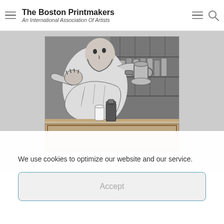The Boston Printmakers — An International Association Of Artists
[Figure (illustration): Black and white print/lithograph titled 'Meditation' showing a man leaning over a worktable, holding a cup in one hand and a tool in the other, with shelving in the background. Objects on the table include small containers. Signed in pencil at the bottom.]
We use cookies to optimize our website and our service.
Accept